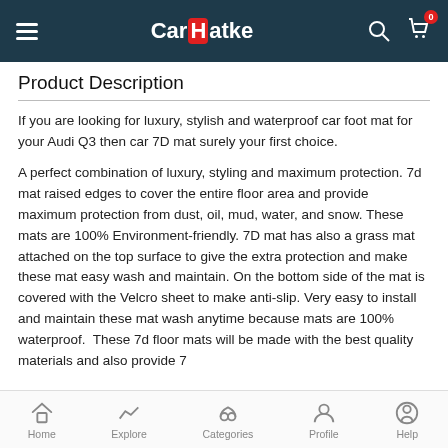CarHatke – navigation bar with hamburger menu, logo, search and cart icons
Product Description
If you are looking for luxury, stylish and waterproof car foot mat for your Audi Q3 then car 7D mat surely your first choice.

A perfect combination of luxury, styling and maximum protection. 7d mat raised edges to cover the entire floor area and provide maximum protection from dust, oil, mud, water, and snow. These mats are 100% Environment-friendly. 7D mat has also a grass mat attached on the top surface to give the extra protection and make these mat easy wash and maintain. On the bottom side of the mat is covered with the Velcro sheet to make anti-slip. Very easy to install and maintain these mat wash anytime because mats are 100% waterproof.  These 7d floor mats will be made with the best quality materials and also provide 7
Home  Explore  Categories  Profile  Help